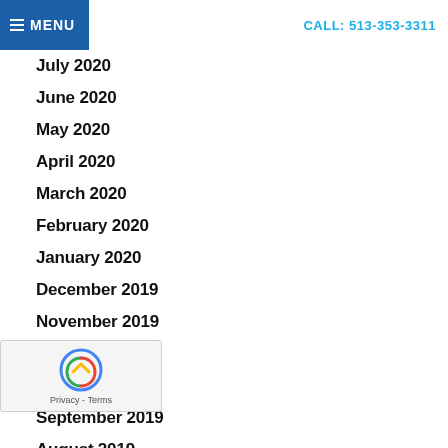MENU | CALL: 513-353-3311
July 2020
June 2020
May 2020
April 2020
March 2020
February 2020
January 2020
December 2019
November 2019
October 2019
September 2019
August 2019